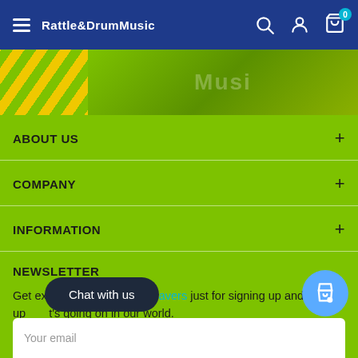Rattle&DrumMusic
[Figure (screenshot): Hero banner image strip with green and yellow diagonal stripes, showing partial music-related imagery]
ABOUT US
COMPANY
INFORMATION
NEWSLETTER
Get exclusive offers, 250 Quavers just for signing up and keep up to date with what's going on in our world.
Your email